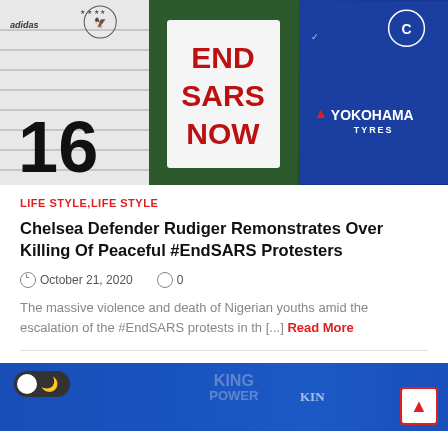[Figure (photo): Three-panel composite image: left panel shows a person wearing a white Germany national football jersey with number 16 and Adidas branding; center panel shows a person holding a white banner with red handwritten text reading 'END SARS NOW'; right panel shows a person wearing a blue Chelsea FC jersey with YOKOHAMA TYRES sponsor logo.]
LIFE STYLE,LIFE STYLE
Chelsea Defender Rudiger Remonstrates Over Killing Of Peaceful #EndSARS Protesters
October 21, 2020   0
The massive violence and death of Nigerian youths amid the escalation of the #EndSARS protests in th [...] Read More
[Figure (photo): Bottom partial image showing people in blue Leicester City / Chelsea FC jerseys with KING POWER text visible, with a dark mode toggle button overlay on the left and a scroll-to-top button on the bottom right.]